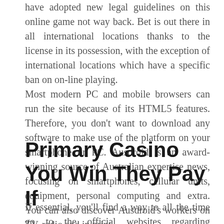have adopted new legal guidelines on this online game not way back. Bet is out there in all international locations thanks to the license in its possession, with the exception of international locations which have a specific ban on on-line playing.
Most modern PC and mobile browsers can run the site because of its HTML5 features. Therefore, you don't want to download any software to make use of the platform on your smartphone or PC. Ausdroid is an award-winning source of Australian expertise news, focusing on smartphones, cellular units, equipment, personal computing and extra. You can also discover Ausdroid's workers on TV, radio and in print.
Primary Casino You Win They Pay If
If essential, you'll find a way to all the time go to the official websites regarding accountable gambling for help or further information. Aussie FastPay on line